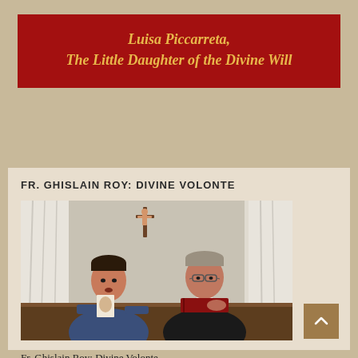Luisa Piccarreta, The Little Daughter of the Divine Will
FR. GHISLAIN ROY: DIVINE VOLONTE
[Figure (photo): Two men seated at a desk. The man on the left wears a blue sweater and holds a small religious image. The man on the right wears clerical black attire with a white collar and holds a red book. A crucifix hangs on the wall behind them between white curtains.]
Fr. Ghislain Roy: Divine Volonte